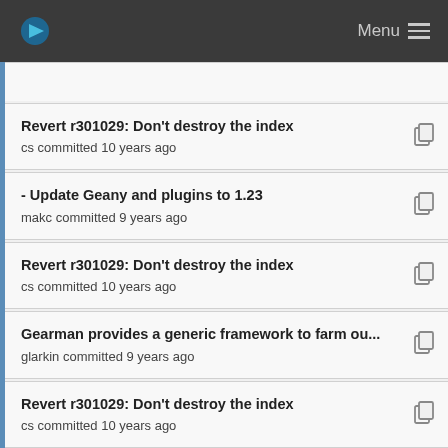Menu
Revert r301029: Don't destroy the index
cs committed 10 years ago
- Update Geany and plugins to 1.23
makc committed 9 years ago
Revert r301029: Don't destroy the index
cs committed 10 years ago
Gearman provides a generic framework to farm ou...
glarkin committed 9 years ago
Revert r301029: Don't destroy the index
cs committed 10 years ago